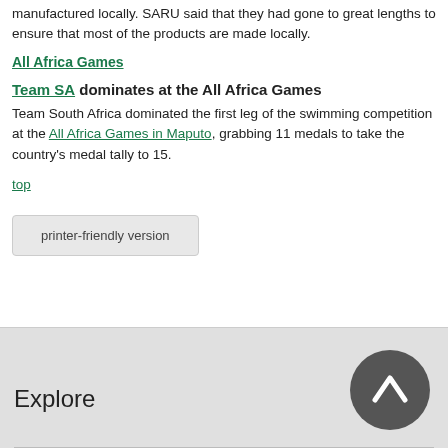manufactured locally. SARU said that they had gone to great lengths to ensure that most of the products are made locally.
All Africa Games
Team SA dominates at the All Africa Games
Team South Africa dominated the first leg of the swimming competition at the All Africa Games in Maputo, grabbing 11 medals to take the country's medal tally to 15.
top
printer-friendly version
Explore